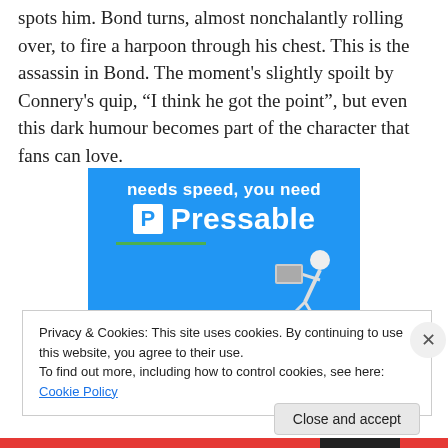spots him. Bond turns, almost nonchalantly rolling over, to fire a harpoon through his chest. This is the assassin in Bond. The moment's slightly spoilt by Connery's quip, “I think he got the point”, but even this dark humour becomes part of the character that fans can love.
[Figure (illustration): Advertisement banner for Pressable web hosting. Blue background with white bold text 'needs speed, you need' and 'Pressable' with a white P logo box. Green underline. Figure of person running/leaping with laptop.]
Privacy & Cookies: This site uses cookies. By continuing to use this website, you agree to their use.
To find out more, including how to control cookies, see here: Cookie Policy
Close and accept